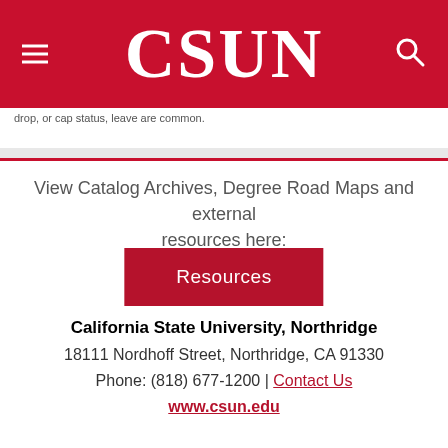[Figure (logo): CSUN header bar with hamburger menu icon on the left, CSUN wordmark in white serif font in the center, and a search icon on the right, all on a red background]
drop, or cap status, leave are common.
View Catalog Archives, Degree Road Maps and external resources here:
Resources
California State University, Northridge
18111 Nordhoff Street, Northridge, CA 91330
Phone: (818) 677-1200 | Contact Us
www.csun.edu